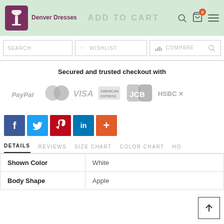Denver Dresses — ADD TO CART
SEARCH   ♡ WISHLIST   COMPARE
Secured and trusted checkout with
[Figure (logo): Payment method logos: PayPal, MasterCard, VISA, American Express, JCB, HSBC]
[Figure (infographic): Social share buttons: Facebook, Twitter, Pinterest, LinkedIn, More (+)]
DETAILS   REVIEWS   SIZE CHART   COLOR CHART   HO...
|  |  |
| --- | --- |
| Shown Color | White |
| Body Shape | Apple |